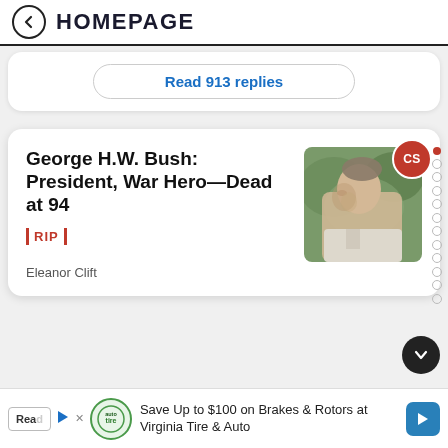HOMEPAGE
Read 913 replies
George H.W. Bush: President, War Hero—Dead at 94
RIP
Eleanor Clift
[Figure (photo): Portrait photo of George H.W. Bush in profile, outdoor background]
Save Up to $100 on Brakes & Rotors at Virginia Tire & Auto